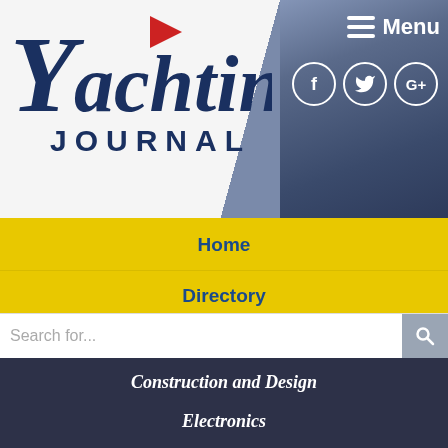[Figure (logo): Yachting Journal logo with red flag accent and navy blue serif text]
Menu
Home
Directory
Construction and Design
Electronics
Interior Outfitting
Entertainment
Rolls-Royce Unveils New Automation Systems With Sea Machines Tech
MarineLink, April 5, 2022